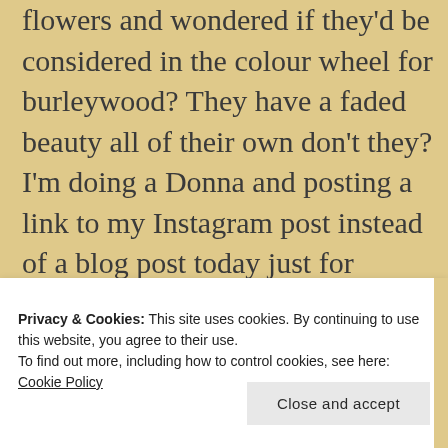flowers and wondered if they'd be considered in the colour wheel for burleywood? They have a faded beauty all of their own don't they? I'm doing a Donna and posting a link to my Instagram post instead of a blog post today just for something different:)
Privacy & Cookies: This site uses cookies. By continuing to use this website, you agree to their use.
To find out more, including how to control cookies, see here: Cookie Policy
Close and accept